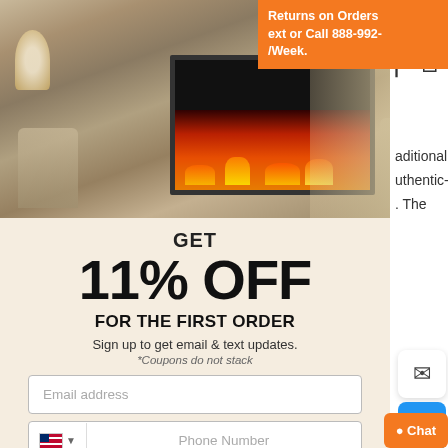[Figure (photo): Modal popup overlay showing a living room with a stone fireplace insert, elegant chairs, and warm lighting]
GET
11% OFF
FOR THE FIRST ORDER
Sign up to get email & text updates.
*Coupons do not stack
Email address
Phone Number
Sign up & Get the Coupon!
By entering your phone number, you agree to receive marketing messages at the number provided. Consent is not a condition of purchase. Message and data rates may apply. Message frequency
Returns on Orders
ext or Call 888-992-
/Week.
aditional
uthentic-
. The
ral
nk you
ace.
ons,
d. The
eplace
r
ted.